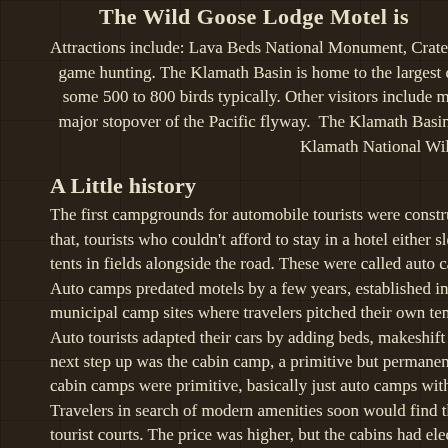The Wild Goose Lodge Motel is
Attractions include: Lava Beds National Monument, Crater La game hunting. The Klamath Basin is home to the largest co some 500 to 800 birds typically. Other visitors include mas major stopover of the Pacific flyway. The Klamath Basin Na Klamath National Wildlife Refuge,
A Little history
The first campgrounds for automobile tourists were construct that, tourists who couldn't afford to stay in a hotel either slep tents in fields alongside the road. These were called auto camp Auto camps predated motels by a few years, established in the municipal camp sites where travelers pitched their own tents. Auto tourists adapted their cars by adding beds, makeshift kit next step up was the cabin camp, a primitive but permanent g cabin camps were primitive, basically just auto camps with sm Travelers in search of modern amenities soon would find them tourist courts. The price was higher, but the cabins had electri occasionally a private garage or carport. Combining the individual cabins of the tourist court under a s